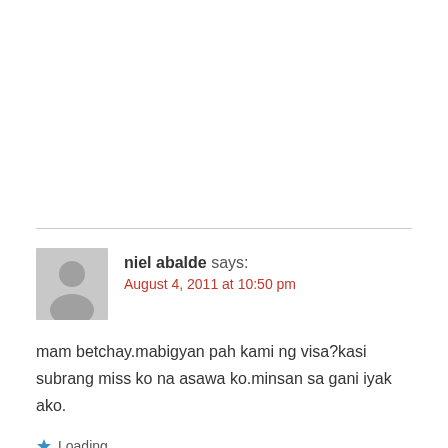niel abalde says:
August 4, 2011 at 10:50 pm
mam betchay.mabigyan pah kami ng visa?kasi subrang miss ko na asawa ko.minsan sa gani iyak ako.
Loading...